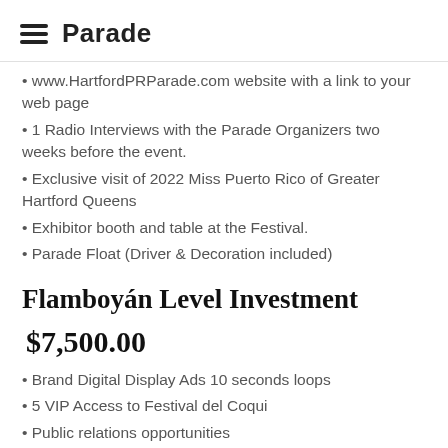Parade
www.HartfordPRParade.com website with a link to your web page
1 Radio Interviews with the Parade Organizers two weeks before the event.
Exclusive visit of 2022 Miss Puerto Rico of Greater Hartford Queens
Exhibitor booth and table at the Festival.
Parade Float (Driver & Decoration included)
Flamboyán Level Investment
$7,500.00
Brand Digital Display Ads 10 seconds loops
5 VIP Access to Festival del Coqui
Public relations opportunities